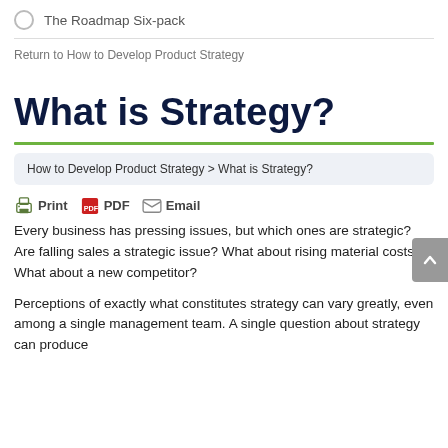The Roadmap Six-pack
Return to How to Develop Product Strategy
What is Strategy?
How to Develop Product Strategy > What is Strategy?
Print   PDF   Email
Every business has pressing issues, but which ones are strategic? Are falling sales a strategic issue? What about rising material costs? What about a new competitor?
Perceptions of exactly what constitutes strategy can vary greatly, even among a single management team. A single question about strategy can produce